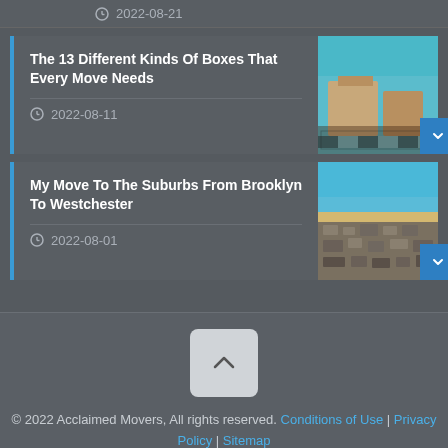2022-08-21
The 13 Different Kinds Of Boxes That Every Move Needs
2022-08-11
My Move To The Suburbs From Brooklyn To Westchester
2022-08-01
© 2022 Acclaimed Movers, All rights reserved. Conditions of Use | Privacy Policy | Sitemap